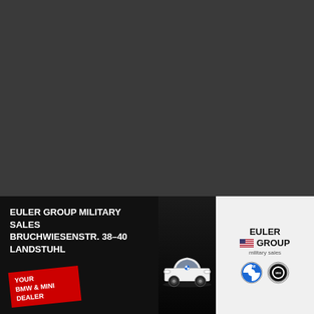[Figure (photo): Dark grey background area representing a webpage with obscured content]
We use cookies to personalize content and ads, to provide social media features and to analyze our traffic. We also share information about your use of our site with our social media advertising and analytics partners who may combine it with other information that you've provided to them or that they've collected from your use of their services.
[Figure (advertisement): Euler Group Military Sales advertisement showing: dealer name 'EULER GROUP MILITARY SALES BRUCHWIESENSTR. 38-40 LANDSTUHL', a red badge saying 'YOUR BMW & MINI DEALER', a white BMW car image, and Euler Group logo with BMW and MINI brand logos on white background]